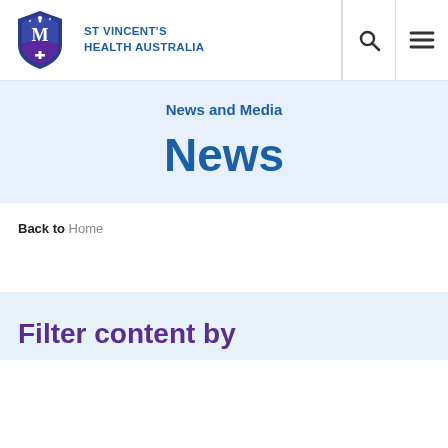[Figure (logo): St Vincent's Health Australia logo — shield with Marian symbol and cross, blue and purple colors, with text ST VINCENT'S HEALTH AUSTRALIA]
News and Media
News
Back to Home
Filter content by